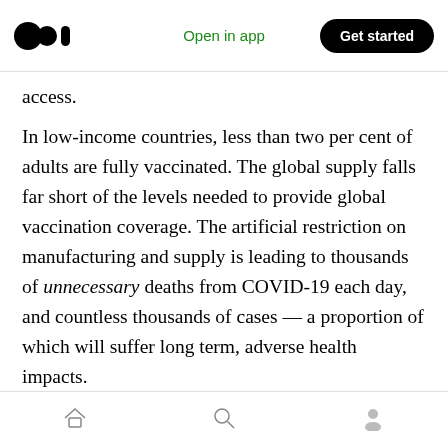Open in app  Get started
access.
In low-income countries, less than two per cent of adults are fully vaccinated. The global supply falls far short of the levels needed to provide global vaccination coverage. The artificial restriction on manufacturing and supply is leading to thousands of unnecessary deaths from COVID-19 each day, and countless thousands of cases — a proportion of which will suffer long term, adverse health impacts.
In light of this we are deeply concerned with
Home  Search  Profile